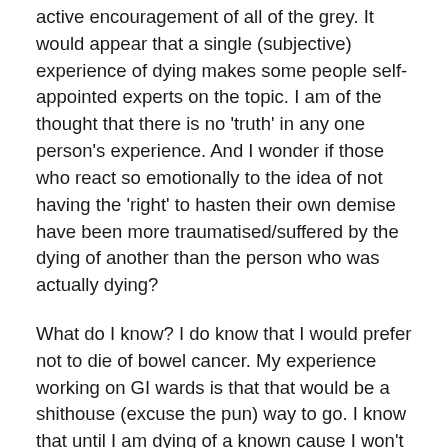active encouragement of all of the grey. It would appear that a single (subjective) experience of dying makes some people self-appointed experts on the topic. I am of the thought that there is no 'truth' in any one person's experience. And I wonder if those who react so emotionally to the idea of not having the 'right' to hasten their own demise have been more traumatised/suffered by the dying of another than the person who was actually dying?
What do I know? I do know that I would prefer not to die of bowel cancer. My experience working on GI wards is that that would be a shithouse (excuse the pun) way to go. I know that until I am dying of a known cause I won't know if I want the option to hasten my demise or not. I know that having witnessed many people dying of a known cause (some in pain, some in discomfort, some in fear) that I'm